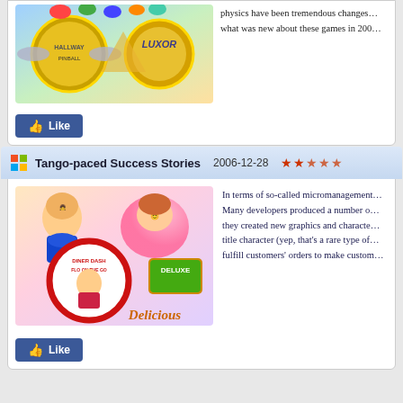[Figure (illustration): Game logos including Hallway and Luxor games with colorful graphics]
physics have been tremendous changes... what was new about these games in 200...
[Figure (illustration): Like button (Facebook style)]
Tango-paced Success Stories  2006-12-28  ★★★☆☆
[Figure (illustration): Diner Dash Flo on the Go and Delicious Deluxe game logos with characters]
In terms of so-called micromanagement... Many developers produced a number of... they created new graphics and characters... title character (yep, that's a rare type of... fulfill customers' orders to make custom...
[Figure (illustration): Like button (Facebook style)]